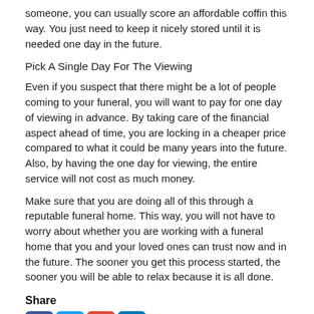someone, you can usually score an affordable coffin this way. You just need to keep it nicely stored until it is needed one day in the future.
Pick A Single Day For The Viewing
Even if you suspect that there might be a lot of people coming to your funeral, you will want to pay for one day of viewing in advance. By taking care of the financial aspect ahead of time, you are locking in a cheaper price compared to what it could be many years into the future. Also, by having the one day for viewing, the entire service will not cost as much money.
Make sure that you are doing all of this through a reputable funeral home. This way, you will not have to worry about whether you are working with a funeral home that you and your loved ones can trust now and in the future. The sooner you get this process started, the sooner you will be able to relax because it is all done.
Share
[Figure (other): Social media share icons: Facebook, Twitter, Google+, LinkedIn]
2022© Learning All About Funeral Arrangement Options